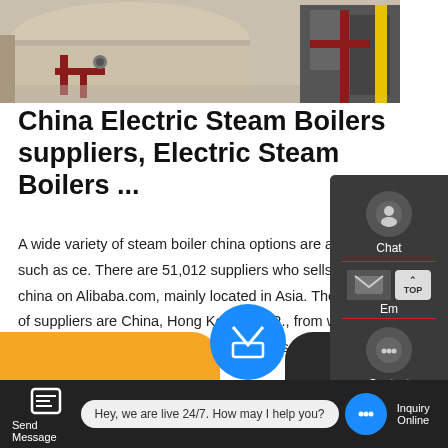[Figure (photo): Industrial steam boilers in a factory setting, showing large cylindrical boilers with red pipes and yellow pipes, machinery in background.]
China Electric Steam Boilers suppliers, Electric Steam Boilers ...
A wide variety of steam boiler china options are available to you, such as ce. There are 51,012 suppliers who sells steam boiler china on Alibaba.com, mainly located in Asia. The top countries of suppliers are China, Hong Kong S.A.R., from which the percentage of steam boiler china supply is …